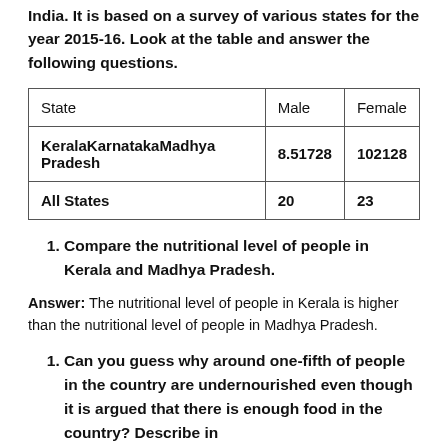India. It is based on a survey of various states for the year 2015-16. Look at the table and answer the following questions.
| State | Male | Female |
| --- | --- | --- |
| KeralaKarnatakaMadhya Pradesh | 8.51728 | 102128 |
| All States | 20 | 23 |
Compare the nutritional level of people in Kerala and Madhya Pradesh.
Answer: The nutritional level of people in Kerala is higher than the nutritional level of people in Madhya Pradesh.
Can you guess why around one-fifth of people in the country are undernourished even though it is argued that there is enough food in the country? Describe in